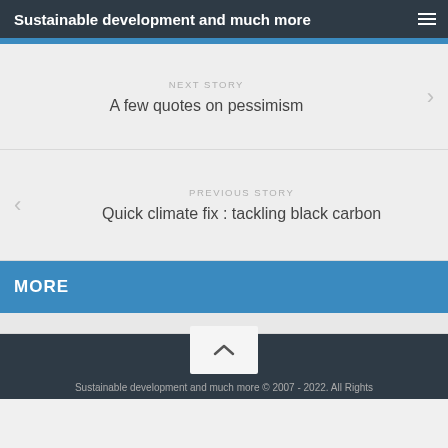Sustainable development and much more
NEXT STORY
A few quotes on pessimism
PREVIOUS STORY
Quick climate fix : tackling black carbon
MORE
Sustainable development and much more © 2007 - 2022. All Rights